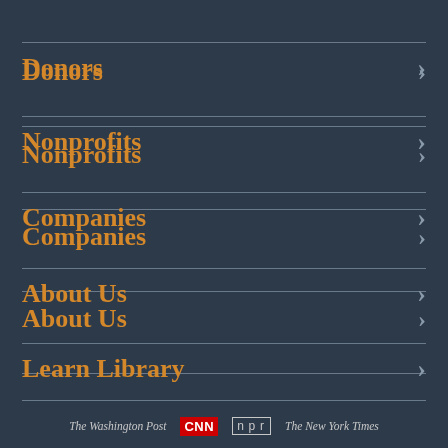Donors
Nonprofits
Companies
About Us
Learn Library
The Washington Post  CNN  n p r  The New York Times